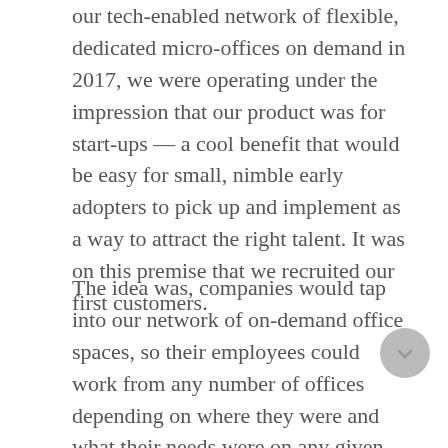our tech-enabled network of flexible, dedicated micro-offices on demand in 2017, we were operating under the impression that our product was for start-ups — a cool benefit that would be easy for small, nimble early adopters to pick up and implement as a way to attract the right talent. It was on this premise that we recruited our first customers.
The idea was, companies would tap into our network of on-demand office spaces, so their employees could work from any number of offices depending on where they were and what their needs were on any given day. This flexibility without added complication or cost was a great amenity. But we knew at the time, it wasn't an essential service. There was some demand, but